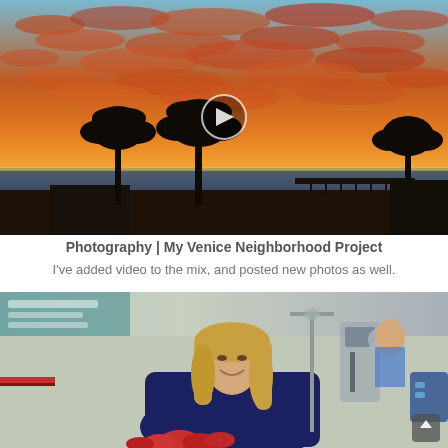[Figure (photo): Dramatic sunset photo over Venice Beach with vivid orange and red clouds, silhouettes of palm trees and a pier, ocean visible, with a video play button overlay in the center]
Photography | My Venice Neighborhood Project
I've added video to the mix, and posted new photos as well.
[Figure (photo): A smiling blonde woman in a dark sweatshirt in what appears to be a hospital or medical setting, holding or arranging red flowers, with medical equipment visible in the background]